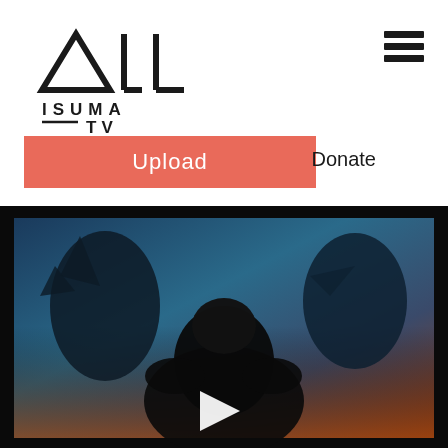[Figure (logo): Isuma TV logo with geometric symbol (triangle and angled lines) and text ISUMA TV]
[Figure (other): Hamburger menu icon (three horizontal lines)]
Upload
Donate
[Figure (other): Search magnifying glass icon]
[Figure (other): Animated video thumbnail showing dark silhouette figure against blue/teal and orange gradient background with two creature figures, and a white play button triangle in center]